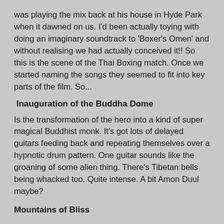was playing the mix back at his house in Hyde Park when it dawned on us. I'd been actually toying with doing an imaginary soundtrack to 'Boxer's Omen' and without realising we had actually conceived it!! So this is the scene of the Thai Boxing match. Once we started naming the songs they seemed to fit into key parts of the film. So...
Inauguration of the Buddha Dome
Is the transformation of the hero into a kind of super magical Buddhist monk. It's got lots of delayed guitars feeding back and repeating themselves over a hypnotic drum pattern. One guitar sounds like the groaning of some alien thing. There's Tibetan bells being whacked too. Quite intense. A bit Amon Duul maybe?
Mountains of Bliss